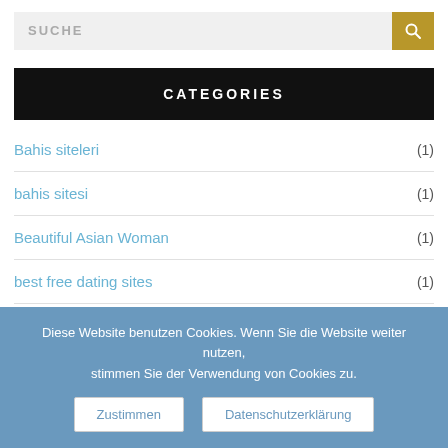SUCHE
CATEGORIES
Bahis siteleri (1)
bahis sitesi (1)
Beautiful Asian Woman (1)
best free dating sites (1)
Best Marriage Dating Sites (1)
Best Ukrainian Wife (1)
Diese Website benutzen Cookies. Wenn Sie die Website weiter nutzen, stimmen Sie der Verwendung von Cookies zu.